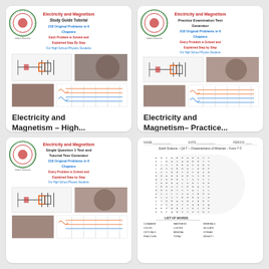[Figure (screenshot): Book cover: Electricity and Magnetism Study Guide Tutorial, 218 Original Problems in 6 Chapters, Each Problem is Solved and Explained Step By Step, For High School Physics Students. Shows circuit diagrams and electronics photos.]
Electricity and Magnetism – High...
$35.00
[Figure (screenshot): Book cover: Electricity and Magnetism Practice Examination Test Generator, 218 Original Problems in 6 Chapters, Every Problem is Solved and Explained Step by Step, For High School Physics Students. Shows circuit diagrams and electronics photos.]
Electricity and Magnetism– Practice...
$45.00
[Figure (screenshot): Book cover: Electricity and Magnetism Single Question 1 Test and Tutorial Test Generator, 218 Original Problems in 6 Chapters, Every Problem is Solved and Explained Step by Step, For High School Physics Students. Shows circuit diagrams and electronics photos.]
[Figure (screenshot): Earth Science quiz/test page showing a word search puzzle and list of words related to characteristics of minerals.]